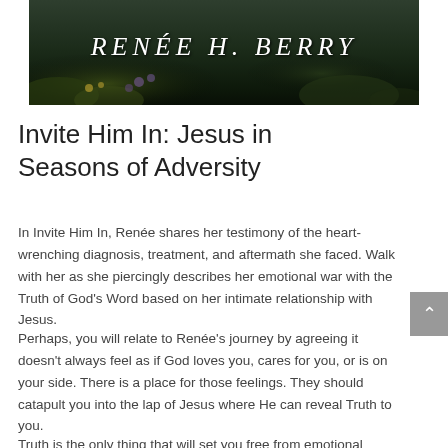[Figure (photo): Dark nature background banner with text 'Renee H. Berry' in white serif italic uppercase letters with letter-spacing, overlaid on a dark green/black background with floral elements at the bottom]
Invite Him In: Jesus in Seasons of Adversity
In Invite Him In, Renée shares her testimony of the heart-wrenching diagnosis, treatment, and aftermath she faced. Walk with her as she piercingly describes her emotional war with the Truth of God's Word based on her intimate relationship with Jesus.
Perhaps, you will relate to Renée's journey by agreeing it doesn't always feel as if God loves you, cares for you, or is on your side. There is a place for those feelings. They should catapult you into the lap of Jesus where He can reveal Truth to you.
Truth is the only thing that will set you free from emotional bondage. He desires to do that for you.